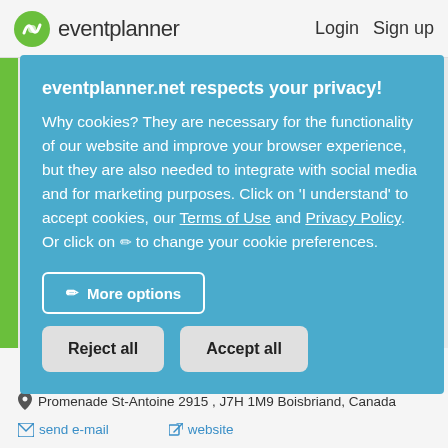eventplanner   Login   Sign up
eventplanner.net respects your privacy!
Why cookies? They are necessary for the functionality of our website and improve your browser experience, but they are also needed to integrate with social media and for marketing purposes. Click on 'I understand' to accept cookies, our Terms of Use and Privacy Policy. Or click on ✏ to change your cookie preferences.
More options
Reject all
Accept all
Promenade St-Antoine 2915 , J7H 1M9 Boisbriand, Canada
send e-mail   website